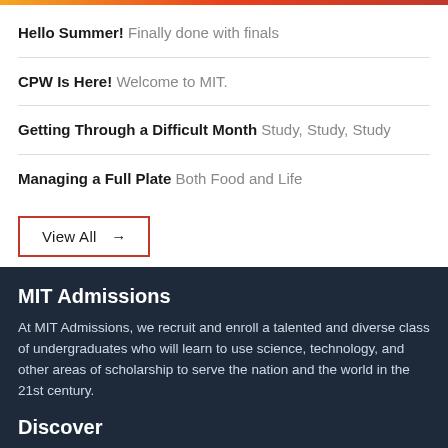Hello Summer! Finally done with finals
CPW Is Here! Welcome to MIT.
Getting Through a Difficult Month Study, Study, Study
Managing a Full Plate Both Food and Life
View All →
MIT Admissions
At MIT Admissions, we recruit and enroll a talented and diverse class of undergraduates who will learn to use science, technology, and other areas of scholarship to serve the nation and the world in the 21st century.
Discover